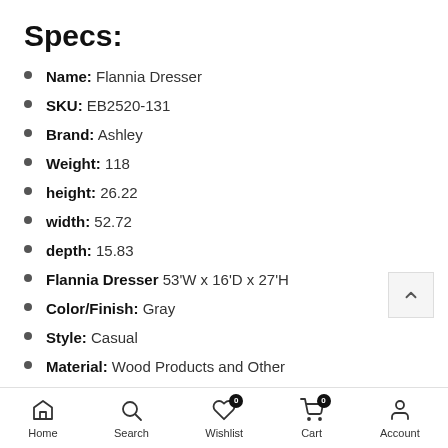Specs:
Name: Flannia Dresser
SKU: EB2520-131
Brand: Ashley
Weight: 118
height: 26.22
width: 52.72
depth: 15.83
Flannia Dresser 53'W x 16'D x 27'H
Color/Finish: Gray
Style: Casual
Material: Wood Products and Other
Home  Search  Wishlist 0  Cart 0  Account